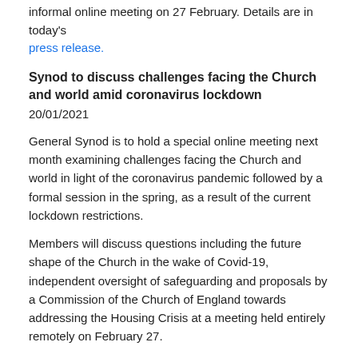informal online meeting on 27 February. Details are in today's press release.
Synod to discuss challenges facing the Church and world amid coronavirus lockdown
20/01/2021
General Synod is to hold a special online meeting next month examining challenges facing the Church and world in light of the coronavirus pandemic followed by a formal session in the spring, as a result of the current lockdown restrictions.
Members will discuss questions including the future shape of the Church in the wake of Covid-19, independent oversight of safeguarding and proposals by a Commission of the Church of England towards addressing the Housing Crisis at a meeting held entirely remotely on February 27.
Legislation and other business which can only be addressed in a formal session will be discussed slightly later – expected to be from April 23 to April 24. The two meetings will replace the planned group of sessions which would have taken place from February 26 to March 1.